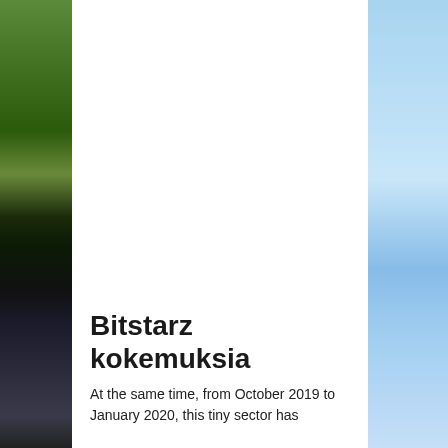[Figure (photo): Left vertical strip showing palm tree fronds (green/dark) transitioning to dark background at bottom, and right vertical strip showing blue sky with clouds.]
Bitstarz kokemuksia
At the same time, from October 2019 to January 2020, this tiny sector has